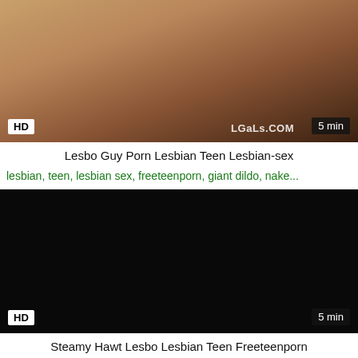[Figure (photo): Thumbnail of adult video with HD badge bottom-left and 5 min badge bottom-right, watermark LGaLs.COM]
Lesbo Guy Porn Lesbian Teen Lesbian-sex
lesbian, teen, lesbian sex, freeteenporn, giant dildo, nake...
[Figure (photo): Dark/black thumbnail of adult video with HD badge bottom-left and 5 min badge bottom-right]
Steamy Hawt Lesbo Lesbian Teen Freeteenporn
lesbian, teen, freeteenporn, juicy pussy, lesbian 69, nake...